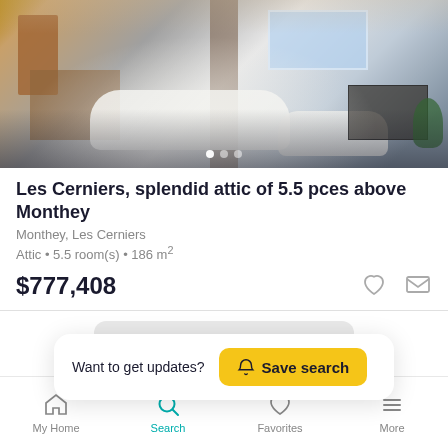[Figure (photo): Interior photo of a modern attic apartment living room with white sofas, wooden bookshelf, flat screen TV, stone column, and mountain view through large windows]
Les Cerniers, splendid attic of 5.5 pces above Monthey
Monthey, Les Cerniers
Attic • 5.5 room(s) • 186 m²
$777,408
Want to get updates?  Save search
My Home   Search   Favorites   More